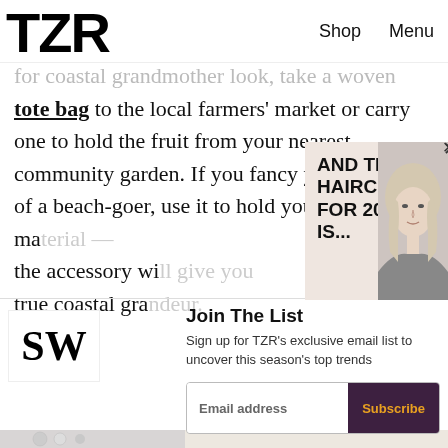TZR  Shop  Menu
for coastal grandmother look, take a woven tote bag to the local farmers' market or carry one to hold the fruit from your nearest community garden. If you fancy yourself more of a beach-goer, use it to hold your reading ma... the accessory wi... true coastal gra...
[Figure (screenshot): Popup advertisement overlay reading 'AND THE #1 HAIRCUT FOR 2022 IS...' with a photo of a blonde woman on a light beige background, with an X close button]
Join The List
Sign up for TZR's exclusive email list to uncover this season's top trends
[Figure (screenshot): Email signup form with 'Email address' input field and 'Subscribe' button in dark purple with orange text]
[Figure (screenshot): Partial SW magazine/brand logo thumbnail on left side]
[Figure (photo): Partial images of jewelry and fashion items along the bottom of the page]